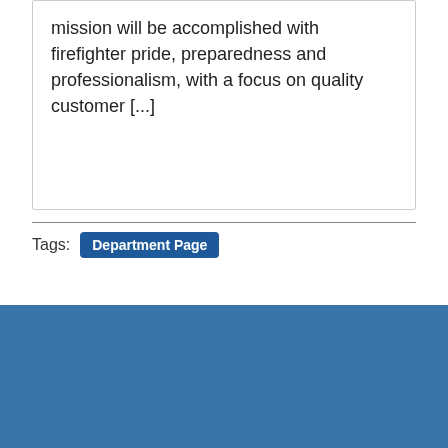mission will be accomplished with firefighter pride, preparedness and professionalism, with a focus on quality customer [...]
Tags:  Department Page
[Figure (logo): Capitol building / city hall icon in white/light gray on blue background]
The City of Asheville